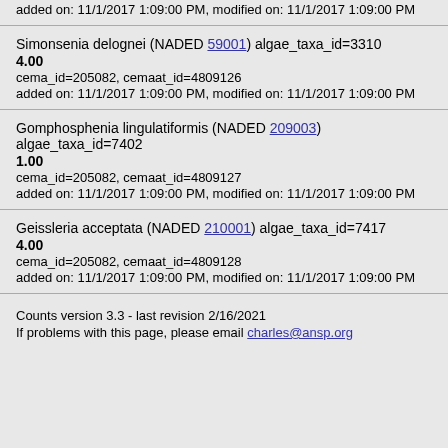added on: 11/1/2017 1:09:00 PM, modified on: 11/1/2017 1:09:00 PM
Simonsenia delognei (NADED 59001) algae_taxa_id=3310
4.00
cema_id=205082, cemaat_id=4809126
added on: 11/1/2017 1:09:00 PM, modified on: 11/1/2017 1:09:00 PM
Gomphosphenia lingulatiformis (NADED 209003) algae_taxa_id=7402
1.00
cema_id=205082, cemaat_id=4809127
added on: 11/1/2017 1:09:00 PM, modified on: 11/1/2017 1:09:00 PM
Geissleria acceptata (NADED 210001) algae_taxa_id=7417
4.00
cema_id=205082, cemaat_id=4809128
added on: 11/1/2017 1:09:00 PM, modified on: 11/1/2017 1:09:00 PM
Counts version 3.3 - last revision 2/16/2021
If problems with this page, please email charles@ansp.org